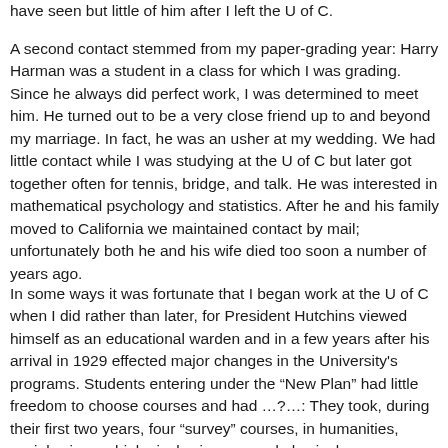have seen but little of him after I left the U of C.
A second contact stemmed from my paper-grading year: Harry Harman was a student in a class for which I was grading. Since he always did perfect work, I was determined to meet him. He turned out to be a very close friend up to and beyond my marriage. In fact, he was an usher at my wedding. We had little contact while I was studying at the U of C but later got together often for tennis, bridge, and talk. He was interested in mathematical psychology and statistics. After he and his family moved to California we maintained contact by mail; unfortunately both he and his wife died too soon a number of years ago.
In some ways it was fortunate that I began work at the U of C when I did rather than later, for President Hutchins viewed himself as an educational warden and in a few years after his arrival in 1929 effected major changes in the University's programs. Students entering under the “New Plan” had little freedom to choose courses and had …?…: They took, during their first two years, four “survey” courses, in humanities, social science, biological sciences, and physical